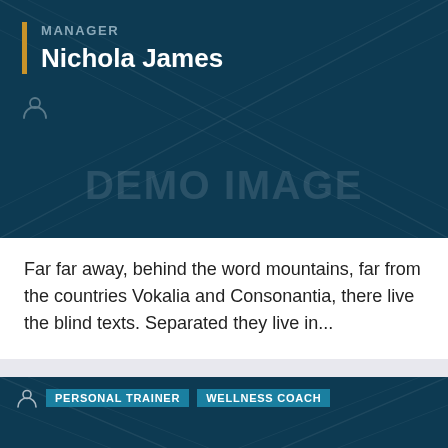[Figure (other): Dark blue card with diagonal watermark lines, gold vertical bar accent, manager label and name 'Nichola James', person icon placeholder, demo image placeholder]
Far far away, behind the word mountains, far from the countries Vokalia and Consonantia, there live the blind texts. Separated they live in...
[Figure (other): Dark blue card with tags 'PERSONAL TRAINER' and 'WELLNESS COACH', diagonal watermark lines, DEMO IMAGE text watermark, person icon, manager label at bottom]